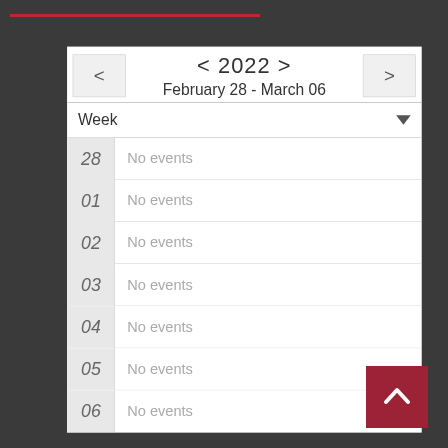[Figure (screenshot): Calendar week view for February 28 - March 06, 2022 showing no events for each day]
< 2022 >
February 28 - March 06
Week
28 No events
01 No events
02 No events
03 No events
04 No events
05 No events
06 No events